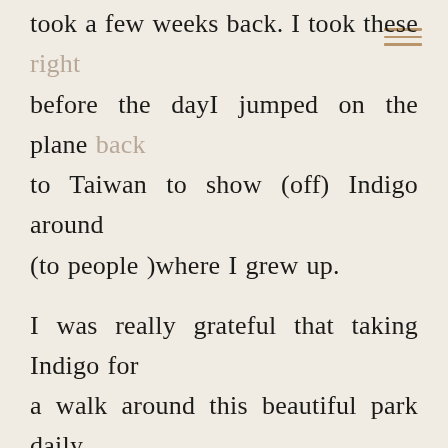took a few weeks back. I took these right before the day I jumped on the plane back to Taiwan to show (off) Indigo around (to people )where I grew up.

I was really grateful that taking Indigo for a walk around this beautiful park daily and man, how could I resist those warm and rusty tones from fallen fall leaves. I was afraid that all these leaves would be gone by the time I come back. And I was